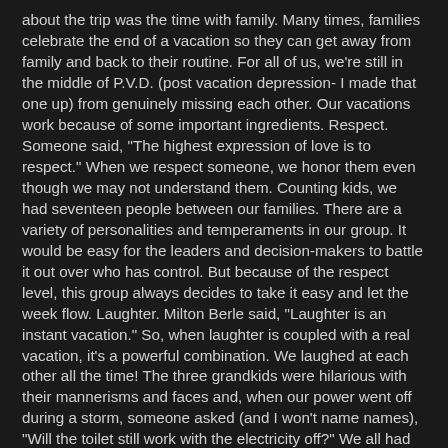about the trip was the time with family. Many times, families celebrate the end of a vacation so they can get away from family and back to their routine. For all of us, we're still in the middle of P.V.D. (post vacation depression- I made that one up) from genuinely missing each other. Our vacations work because of some important ingredients. Respect. Someone said, "The highest expression of love is to respect." When we respect someone, we honor them even though we may not understand them. Counting kids, we had seventeen people between our families. There are a variety of personalities and temperaments in our group. It would be easy for the leaders and decision-makers to battle it out over who has control. But because of the respect level, this group always decides to take it easy and let the week flow. Laughter. Milton Berle said, "Laughter is an instant vacation." So, when laughter is coupled with a real vacation, it's a powerful combination. We laughed at each other all the time! The three grandkids were hilarious with their mannerisms and faces and, when our power went off during a storm, someone asked (and I won't name names), "Will the toilet still work with the electricity off?" We all had fun with that one. There were so many situations where we chose to find